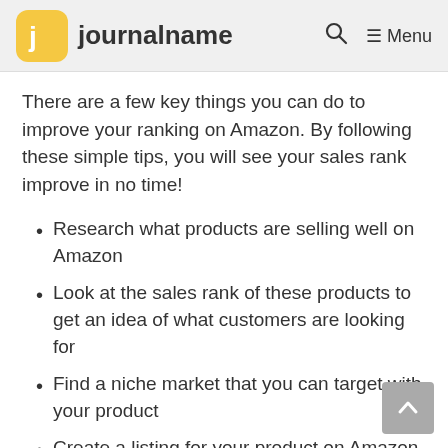journalname
There are a few key things you can do to improve your ranking on Amazon. By following these simple tips, you will see your sales rank improve in no time!
Research what products are selling well on Amazon
Look at the sales rank of these products to get an idea of what customers are looking for
Find a niche market that you can target with your product
Create a listing for your product on Amazon that is optimized for the search engines